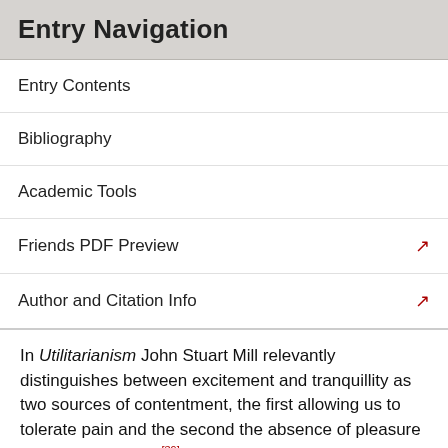Entry Navigation
Entry Contents
Bibliography
Academic Tools
Friends PDF Preview
Author and Citation Info
In Utilitarianism John Stuart Mill relevantly distinguishes between excitement and tranquillity as two sources of contentment, the first allowing us to tolerate pain and the second the absence of pleasure (1971, Ch. II, ¶13).[39] He thus draws on a distinction prominent in Hellenistic traditions, such as those of Epicurean and Stoic thought, [40] which (unlike Mill) advised against the more activated and desire-driven forms of pleasure and took the happiest life to be one of calm and tranquillity, which their opponents often saw as merely painless but lacking most of what makes life worth living. Such advice had